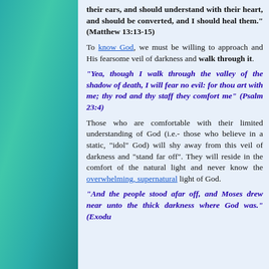their ears, and should understand with their heart, and should be converted, and I should heal them." (Matthew 13:13-15)
To know God, we must be willing to approach and His fearsome veil of darkness and walk through it.
"Yea, though I walk through the valley of the shadow of death, I will fear no evil: for thou art with me; thy rod and thy staff they comfort me" (Psalm 23:4)
Those who are comfortable with their limited understanding of God (i.e.- those who believe in a static, "idol" God) will shy away from this veil of darkness and "stand far off". They will reside in the comfort of the natural light and never know the overwhelming, supernatural light of God.
"And the people stood afar off, and Moses drew near unto the thick darkness where God was." (Exodu...